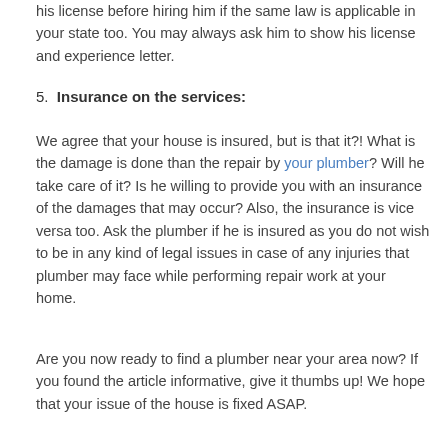his license before hiring him if the same law is applicable in your state too. You may always ask him to show his license and experience letter.
5. Insurance on the services:
We agree that your house is insured, but is that it?! What is the damage is done than the repair by your plumber? Will he take care of it? Is he willing to provide you with an insurance of the damages that may occur? Also, the insurance is vice versa too. Ask the plumber if he is insured as you do not wish to be in any kind of legal issues in case of any injuries that plumber may face while performing repair work at your home.
Are you now ready to find a plumber near your area now? If you found the article informative, give it thumbs up! We hope that your issue of the house is fixed ASAP.